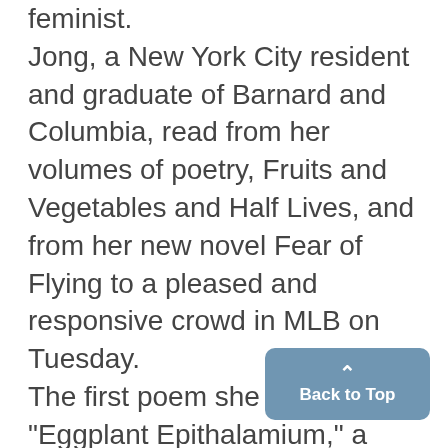feminist. Jong, a New York City resident and graduate of Barnard and Columbia, read from her volumes of poetry, Fruits and Vegetables and Half Lives, and from her new novel Fear of Flying to a pleased and responsive crowd in MLB on Tuesday. The first poem she read was "Eggplant Epithalamium," a wedding present for two friends whose favorite shared activity is cooking "the sexist fruit" to-gether